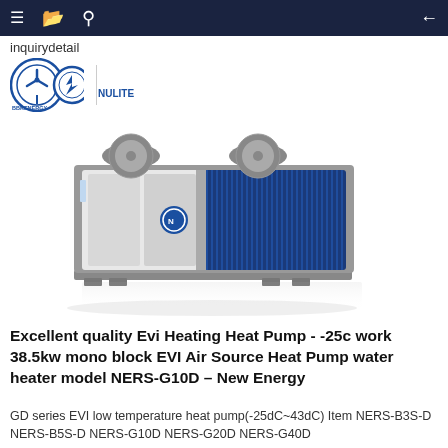inquirydetail
[Figure (logo): BBK Energy and Nulite company logos side by side separated by a vertical divider]
[Figure (photo): Industrial EVI Air Source Heat Pump unit with grey casing, white front panels, and blue finned heat exchanger on the right side, with two cylindrical fans on top]
Excellent quality Evi Heating Heat Pump - -25c work 38.5kw mono block EVI Air Source Heat Pump water heater model NERS-G10D – New Energy
GD series EVI low temperature heat pump(-25dC~43dC) Item NERS-B3S-D NERS-B5S-D NERS-G10D NERS-G20D NERS-G40D